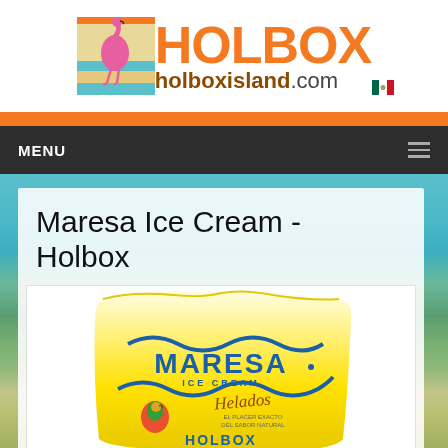[Figure (logo): Holbox Island logo with flamingo illustration, orange HOLBOX text, and holboxisland.com domain with Mexican flag]
[Figure (screenshot): Dark navigation bar with MENU text and hamburger icon]
Maresa Ice Cream - Holbox
[Figure (logo): Maresa Ice Cream Holbox logo on yellow background with blue wave design and Helados text]